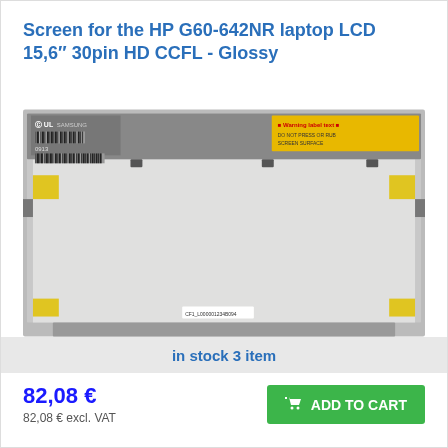Screen for the HP G60-642NR laptop LCD 15,6″ 30pin HD CCFL - Glossy
[Figure (photo): Product photo of an HP G60-642NR laptop LCD screen (15.6 inch), showing the back panel with barcodes, labels, and yellow foam padding on corners. Samsung branded screen.]
in stock 3 item
82,08 €
82,08 € excl. VAT
ADD TO CART